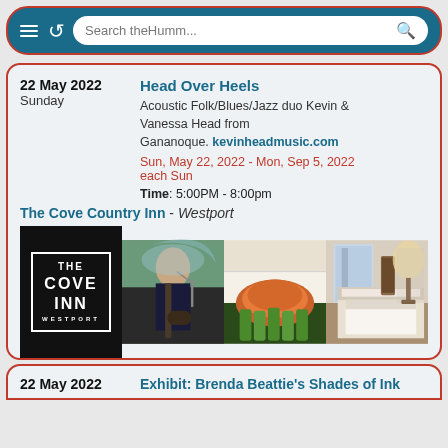Search theHumm...
22 May 2022
Sunday
Head Over Heels
Acoustic Folk/Blues/Jazz duo Kevin & Vanessa Head from Gananoque. kevinheadmusic.com
Sun, May 22, 2022 - Mon, Sep 5, 2022
each Sun
Time: 5:00PM - 8:00pm
The Cove Country Inn - Westport
[Figure (photo): Three-panel photo strip: left panel shows The Cove Inn logo (white text on black background with border); middle panel shows a woman playing guitar outdoors with lake in background and food (chicken/asparagus) dish; right panel shows a hotel bedroom interior with bed and window]
22 May 2022
Exhibit: Brenda Beattie's Shades of Ink